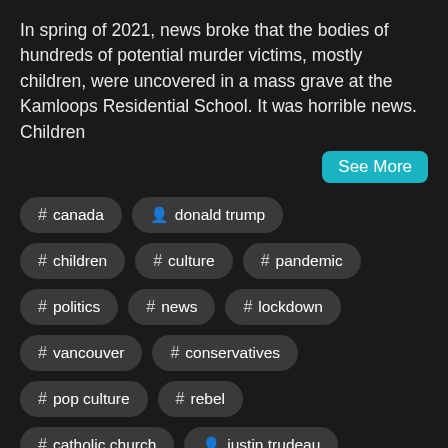In spring of 2021, news broke that the bodies of hundreds of potential murder victims, mostly children, were uncovered in a mass grave at the Kamloops Residential School. It was horrible news. Children
See More
# canada
👤 donald trump
# children
# culture
# pandemic
# politics
# news
# lockdown
# vancouver
# conservatives
# pop culture
# rebel
# catholic church
👤 justin trudeau